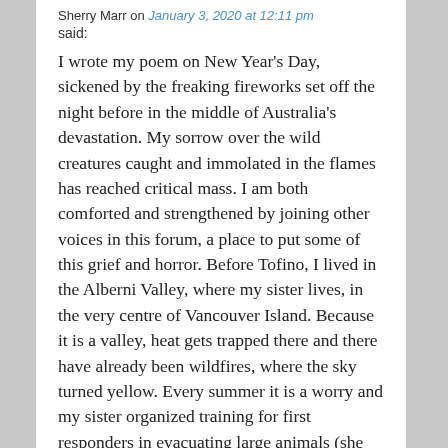Sherry Marr on January 3, 2020 at 12:11 pm said:
I wrote my poem on New Year's Day, sickened by the freaking fireworks set off the night before in the middle of Australia's devastation. My sorrow over the wild creatures caught and immolated in the flames has reached critical mass. I am both comforted and strengthened by joining other voices in this forum, a place to put some of this grief and horror. Before Tofino, I lived in the Alberni Valley, where my sister lives, in the very centre of Vancouver Island. Because it is a valley, heat gets trapped there and there have already been wildfires, where the sky turned yellow. Every summer it is a worry and my sister organized training for first responders in evacuating large animals (she has horses). There is only ONE ROAD OUT. Can you imagine? Wildfires occur every summer in B.C. And still people toss their cigarettes out